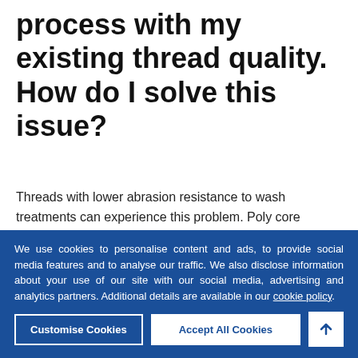process with my existing thread quality. How do I solve this issue?
Threads with lower abrasion resistance to wash treatments can experience this problem. Poly core polyester threads can help minimise this problem due to high abrasion resistance.
We use cookies to personalise content and ads, to provide social media features and to analyse our traffic. We also disclose information about your use of our site with our social media, advertising and analytics partners. Additional details are available in our cookie policy.